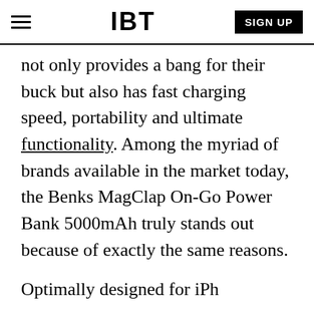IBT | SIGN UP
not only provides a bang for their buck but also has fast charging speed, portability and ultimate functionality. Among the myriad of brands available in the market today, the Benks MagClap On-Go Power Bank 5000mAh truly stands out because of exactly the same reasons.
Optimally designed for iPh... MagClap On-Go Power Ba... MagSafe compatible device... to give comfort and style to its users. It perfectly fits the camera layout of the latest iPhone flagship
[Figure (screenshot): Popup overlay showing 'Top Articles' with 'NewSpiderGenus,Se...' subtitle and a colorful image of a person with face paint]